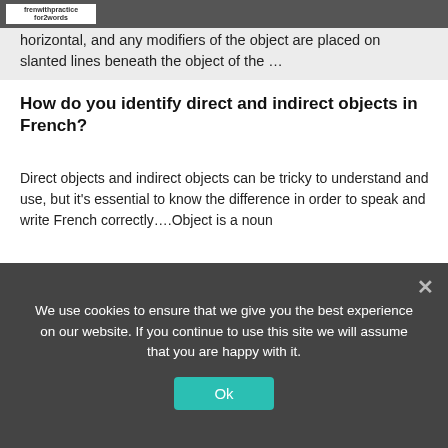frenchwitpractice for2words
horizontal, and any modifiers of the object are placed on slanted lines beneath the object of the …
How do you identify direct and indirect objects in French?
Direct objects and indirect objects can be tricky to understand and use, but it's essential to know the difference in order to speak and write French correctly….Object is a noun
No preposition in front of the noun = noun is direct object …
The preposition à precedes an animate noun = noun is indirect object …
[Figure (infographic): Social sharing icons: Facebook, Twitter, Pinterest, LinkedIn, Skype, Reddit, WhatsApp, Telegram, Email, Share]
We use cookies to ensure that we give you the best experience on our website. If you continue to use this site we will assume that you are happy with it.
Ok